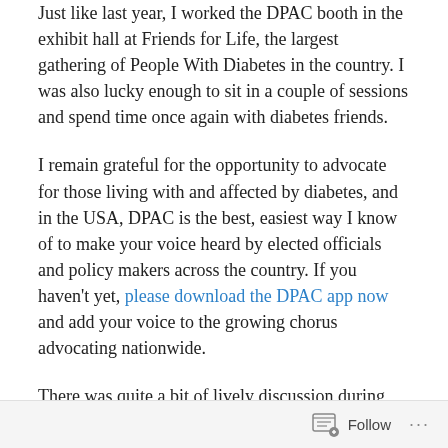Just like last year, I worked the DPAC booth in the exhibit hall at Friends for Life, the largest gathering of People With Diabetes in the country. I was also lucky enough to sit in a couple of sessions and spend time once again with diabetes friends.
I remain grateful for the opportunity to advocate for those living with and affected by diabetes, and in the USA, DPAC is the best, easiest way I know of to make your voice heard by elected officials and policy makers across the country. If you haven't yet, please download the DPAC app now and add your voice to the growing chorus advocating nationwide.
There was quite a bit of lively discussion during the various advocacy sessions led by DPAC CEO Christel
Follow ···